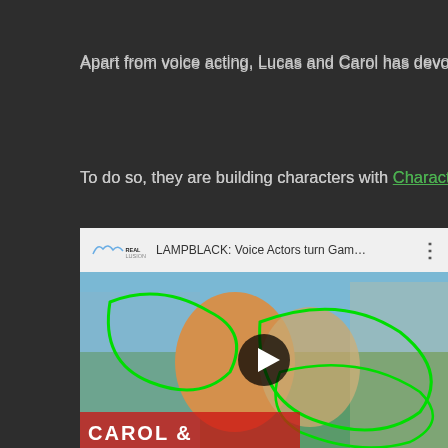Apart from voice acting, Lucas and Carol has devoted muc...
To do so, they are building characters with Character Creator...
Lampblack is still on WIP stage, but feel free to visit their...
Read their full story here and video below:
[Figure (screenshot): Embedded YouTube video player showing 'LAMPBLACK: Voice Actors turn Gam...' with Reallusion logo, video title bar, three-dot menu, and a thumbnail showing two people with headphones surrounded by anime characters with green hand-drawn circles overlay and text 'CAROL & ...' at bottom.]